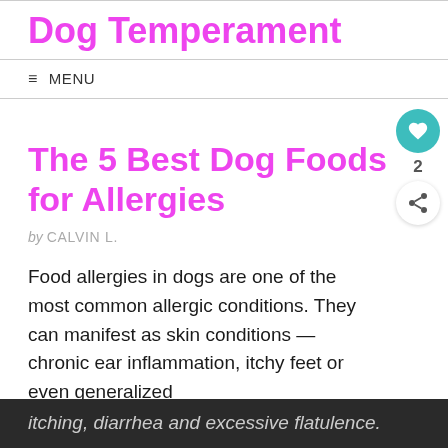Dog Temperament
≡ MENU
The 5 Best Dog Foods for Allergies
by CALVIN L.
Food allergies in dogs are one of the most common allergic conditions. They can manifest as skin conditions — chronic ear inflammation, itchy feet or even generalized itching, diarrhea and excessive flatulence.